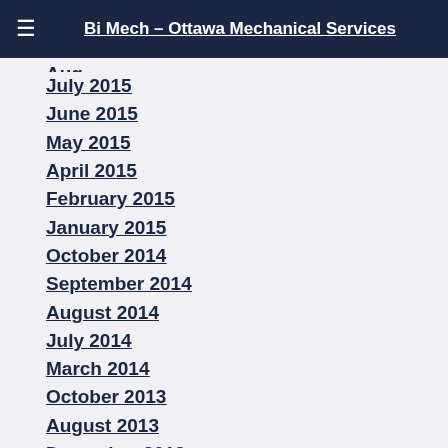Bi Mech – Ottawa Mechanical Services
July 2015
June 2015
May 2015
April 2015
February 2015
January 2015
October 2014
September 2014
August 2014
July 2014
March 2014
October 2013
August 2013
December 2012
November 2012
July 2012
October 2011